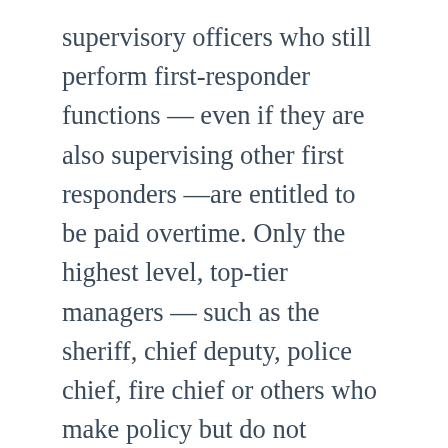supervisory officers who still perform first-responder functions — even if they are also supervising other first responders —are entitled to be paid overtime. Only the highest level, top-tier managers — such as the sheriff, chief deputy, police chief, fire chief or others who make policy but do not typically perform the duties of enforcing the law, rescuing victims, or putting out fires — are truly exempt under the Fair Labor Standards Act.
Recently, we successfully represented many supervisory level first responders seeking to obtain back pay for past overtime work and